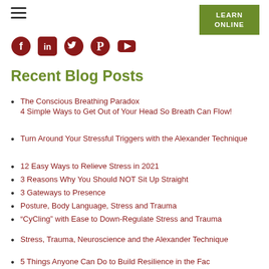LEARN ONLINE
[Figure (other): Social media icons: Facebook, LinkedIn, Twitter, Pinterest, YouTube]
Recent Blog Posts
The Conscious Breathing Paradox 4 Simple Ways to Get Out of Your Head So Breath Can Flow!
Turn Around Your Stressful Triggers with the Alexander Technique
12 Easy Ways to Relieve Stress in 2021
3 Reasons Why You Should NOT Sit Up Straight
3 Gateways to Presence
Posture, Body Language, Stress and Trauma
“CyCling” with Ease to Down-Regulate Stress and Trauma
Stress, Trauma, Neuroscience and the Alexander Technique
5 Things Anyone Can Do to Build Resilience in the Face...